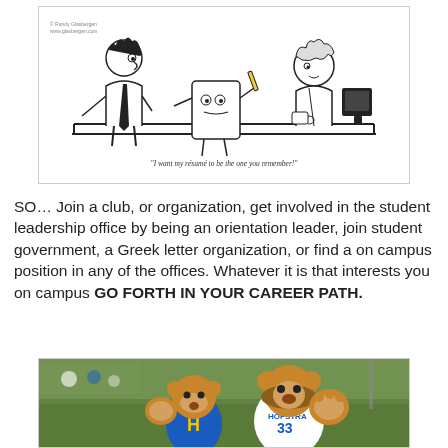[Figure (illustration): A cartoon showing a person at a desk interview with a talking resume/computer. Caption reads: "I want my résumé to be the one you remember!"]
SO… Join a club, or organization, get involved in the student leadership office by being an orientation leader, join student government, a Greek letter organization, or find a on campus position in any of the offices. Whatever it is that interests you on campus GO FORTH IN YOUR CAREER PATH.
[Figure (photo): Photo of two Hofstra University lion mascots in blue and gold uniforms waving at a campus outdoor event.]